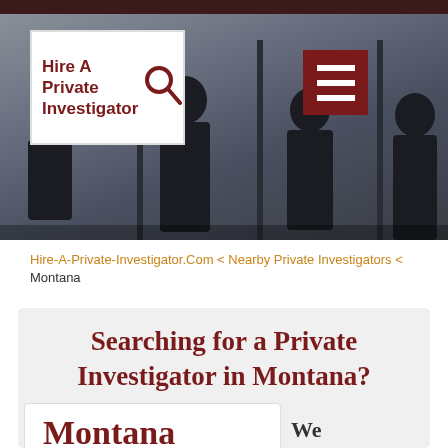[Figure (screenshot): Website header with 'Hire A Private Investigator' logo and silhouette background of people standing]
Hire-A-Private-Investigator.Com < Nearby Private Investigators < Montana
Searching for a Private Investigator in Montana?
Montana
We